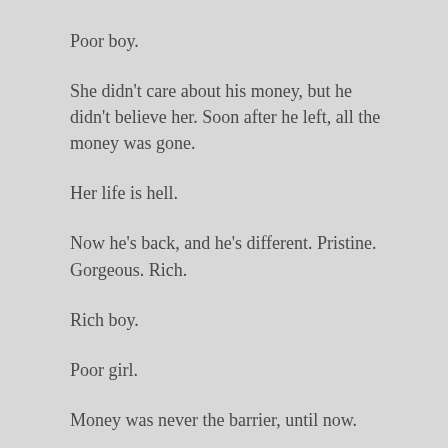Poor boy.
She didn't care about his money, but he didn't believe her. Soon after he left, all the money was gone.
Her life is hell.
Now he's back, and he's different. Pristine. Gorgeous. Rich.
Rich boy.
Poor girl.
Money was never the barrier, until now.